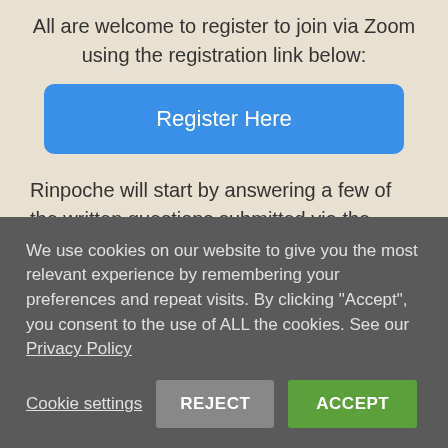All are welcome to register to join via Zoom using the registration link below:
[Figure (other): Blue rounded rectangle button labeled 'Register Here']
Rinpoche will start by answering a few of the written questions submitted via the website followed by questions asked live via Zoom.
You will be able to use the “Raise Hand” function in
We use cookies on our website to give you the most relevant experience by remembering your preferences and repeat visits. By clicking “Accept”, you consent to the use of ALL the cookies. See our Privacy Policy
Cookie settings
REJECT
ACCEPT